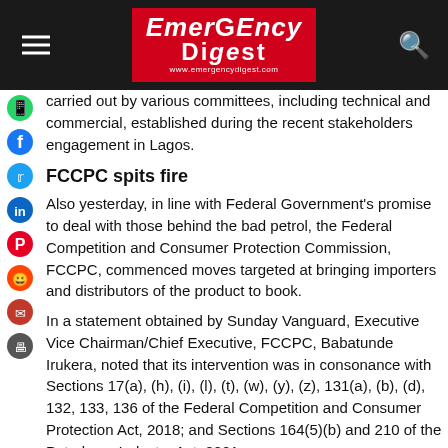Emergency Digest
carried out by various committees, including technical and commercial, established during the recent stakeholders engagement in Lagos.
FCCPC spits fire
Also yesterday, in line with Federal Government's promise to deal with those behind the bad petrol, the Federal Competition and Consumer Protection Commission, FCCPC, commenced moves targeted at bringing importers and distributors of the product to book.
In a statement obtained by Sunday Vanguard, Executive Vice Chairman/Chief Executive, FCCPC, Babatunde Irukera, noted that its intervention was in consonance with Sections 17(a), (h), (i), (l), (t), (w), (y), (z), 131(a), (b), (d), 132, 133, 136 of the Federal Competition and Consumer Protection Act, 2018; and Sections 164(5)(b) and 210 of the Petroleum Industry Act, 2021.